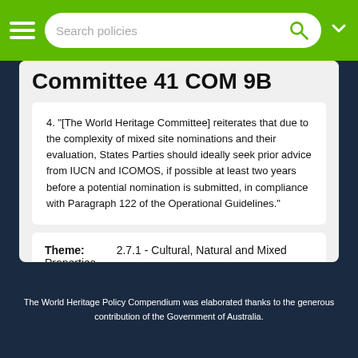Search policies
Committee 41 COM 9B
4. "[The World Heritage Committee] reiterates that due to the complexity of mixed site nominations and their evaluation, States Parties should ideally seek prior advice from IUCN and ICOMOS, if possible at least two years before a potential nomination is submitted, in compliance with Paragraph 122 of the Operational Guidelines."
| Theme: | Decision: |
| --- | --- |
| 2.7.1 - Cultural, Natural and Mixed Properties | 41 COM 9B |
The World Heritage Policy Compendium was elaborated thanks to the generous contribution of the Government of Australia.